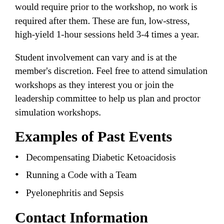would require prior to the workshop, no work is required after them. These are fun, low-stress, high-yield 1-hour sessions held 3-4 times a year.
Student involvement can vary and is at the member's discretion. Feel free to attend simulation workshops as they interest you or join the leadership committee to help us plan and proctor simulation workshops.
Examples of Past Events
Decompensating Diabetic Ketoacidosis
Running a Code with a Team
Pyelonephritis and Sepsis
Contact Information